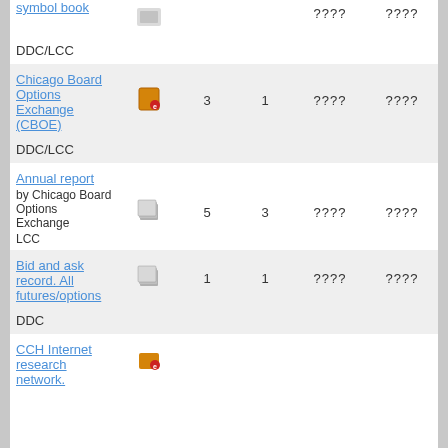| Title | Type | Col3 | Col4 | Col5 | Col6 |
| --- | --- | --- | --- | --- | --- |
| symbol book | [icon] |  |  | ???? | ???? |
| DDC/LCC |  |  |  |  |  |
| Chicago Board Options Exchange (CBOE) | [icon] | 3 | 1 | ???? | ???? |
| DDC/LCC |  |  |  |  |  |
| Annual report by Chicago Board Options Exchange | [icon] | 5 | 3 | ???? | ???? |
| LCC |  |  |  |  |  |
| Bid and ask record. All futures/options | [icon] | 1 | 1 | ???? | ???? |
| DDC |  |  |  |  |  |
| CCH Internet research network. | [icon] |  |  |  |  |